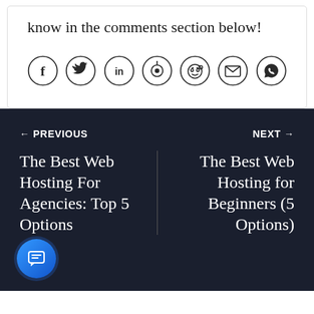know in the comments section below!
[Figure (illustration): Row of 7 social sharing icon circles: Facebook (f), Twitter (bird), LinkedIn (in), Pinterest (P), Reddit (alien face), Email (envelope), WhatsApp (phone)]
← PREVIOUS
NEXT →
The Best Web Hosting For Agencies: Top 5 Options
The Best Web Hosting for Beginners (5 Options)